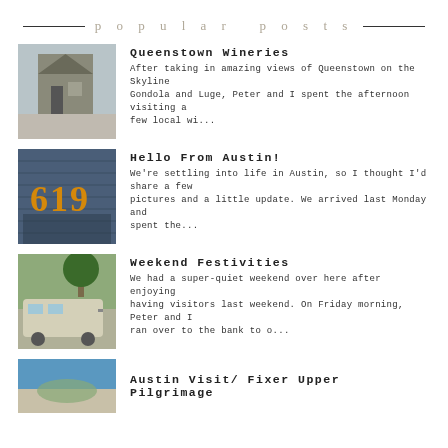popular posts
Queenstown Wineries
After taking in amazing views of Queenstown on the Skyline Gondola and Luge, Peter and I spent the afternoon visiting a few local wi...
[Figure (photo): Photo of a stone building exterior]
Hello From Austin!
We're settling into life in Austin, so I thought I'd share a few pictures and a little update. We arrived last Monday and spent the...
[Figure (photo): Photo of a brick wall with number 619 in illuminated letters]
Weekend Festivities
We had a super-quiet weekend over here after enjoying having visitors last weekend. On Friday morning, Peter and I ran over to the bank to o...
[Figure (photo): Photo of a vintage trailer or food truck]
Austin Visit/ Fixer Upper Pilgrimage
[Figure (photo): Photo with blue sky and landscape]